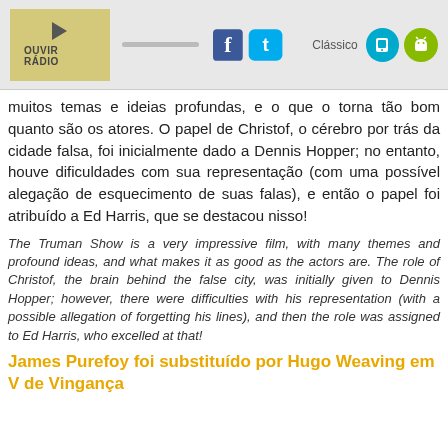OUVIR RÁDIO | Clássico
muitos temas e ideias profundas, e o que o torna tão bom quanto são os atores. O papel de Christof, o cérebro por trás da cidade falsa, foi inicialmente dado a Dennis Hopper; no entanto, houve dificuldades com sua representação (com uma possível alegação de esquecimento de suas falas), e então o papel foi atribuído a Ed Harris, que se destacou nisso!
The Truman Show is a very impressive film, with many themes and profound ideas, and what makes it as good as the actors are. The role of Christof, the brain behind the false city, was initially given to Dennis Hopper; however, there were difficulties with his representation (with a possible allegation of forgetting his lines), and then the role was assigned to Ed Harris, who excelled at that!
James Purefoy foi substituído por Hugo Weaving em V de Vingança